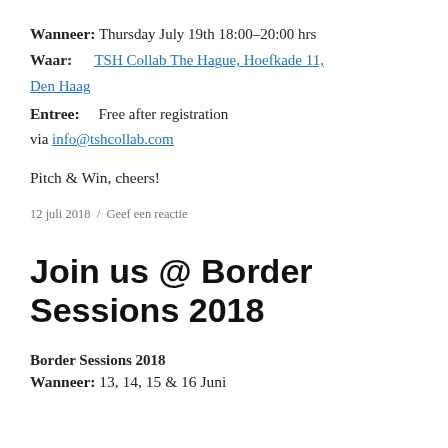Wanneer: Thursday July 19th 18:00-20:00 hrs
Waar: TSH Collab The Hague, Hoefkade 11, Den Haag
Entree: Free after registration via info@tshcollab.com
Pitch & Win, cheers!
12 juli 2018 / Geef een reactie
Join us @ Border Sessions 2018
Border Sessions 2018
Wanneer: 13, 14, 15 & 16 Juni